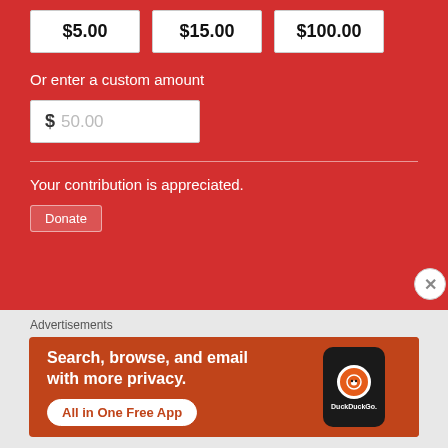$5.00
$15.00
$100.00
Or enter a custom amount
$ 50.00
Your contribution is appreciated.
Advertisements
[Figure (screenshot): DuckDuckGo advertisement banner: orange background with phone mockup, text 'Search, browse, and email with more privacy. All in One Free App', DuckDuckGo logo and branding.]